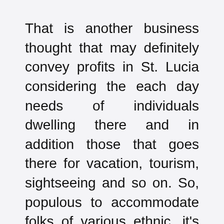That is another business thought that may definitely convey profits in St. Lucia considering the each day needs of individuals dwelling there and in addition those that goes there for vacation, tourism, sightseeing and so on. So, populous to accommodate folks of various ethnic, it's a